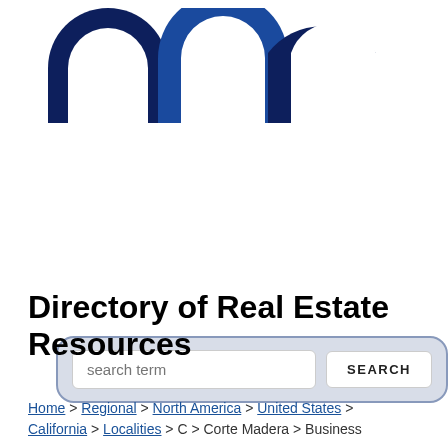[Figure (logo): Three overlapping arch/horseshoe shapes in dark navy and blue forming a logo mark]
[Figure (screenshot): Search bar with text input field labeled 'search term' and a SEARCH button, inside a rounded light blue-gray container]
Directory of Real Estate Resources
Home > Regional > North America > United States > California > Localities > C > Corte Madera > Business